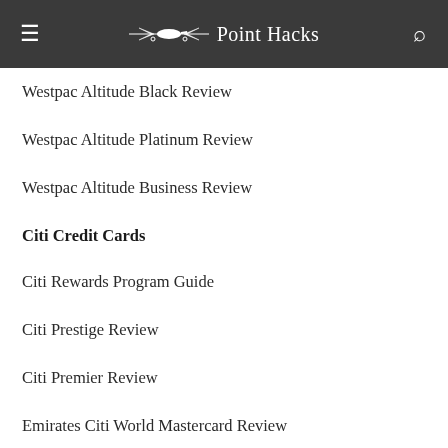Point Hacks
Westpac Altitude Black Review
Westpac Altitude Platinum Review
Westpac Altitude Business Review
Citi Credit Cards
Citi Rewards Program Guide
Citi Prestige Review
Citi Premier Review
Emirates Citi World Mastercard Review
Qantas Credit Cards
Qantas Bonus Point Credit Cards
Qantas Club Lounge Access credit cards
Qantas Premier Platinum Review
Qantas …